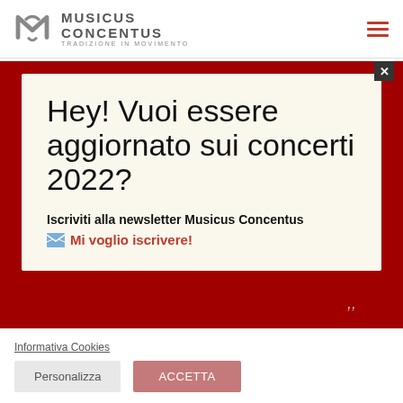[Figure (logo): Musicus Concentus logo with stylized M icon in grey and text 'MUSICUS CONCENTUS TRADIZIONE IN MOVIMENTO']
[Figure (screenshot): Newsletter signup popup modal with red border on beige background. Title: 'Hey! Vuoi essere aggiornato sui concerti 2022?' Subtitle: 'Iscriviti alla newsletter Musicus Concentus' with red link 'Mi voglio iscrivere!' and envelope icon. Close button X in top right corner.]
Informativa Cookies
Personalizza
ACCETTA